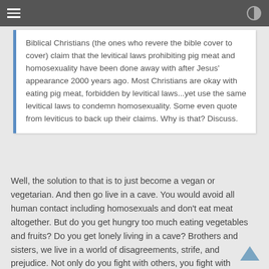[hamburger menu] [contrast toggle]
Biblical Christians (the ones who revere the bible cover to cover) claim that the levitical laws prohibiting pig meat and homosexuality have been done away with after Jesus' appearance 2000 years ago. Most Christians are okay with eating pig meat, forbidden by levitical laws...yet use the same levitical laws to condemn homosexuality. Some even quote from leviticus to back up their claims. Why is that? Discuss.
Well, the solution to that is to just become a vegan or vegetarian. And then go live in a cave. You would avoid all human contact including homosexuals and don't eat meat altogether. But do you get hungry too much eating vegetables and fruits? Do you get lonely living in a cave? Brothers and sisters, we live in a world of disagreements, strife, and prejudice. Not only do you fight with others, you fight with yourself. Hence, the deciding factor to abstain from certain meats or who you should condemn. Most of us can't have any peace even until our physical deaths. Is it because you can't have peace or because you don't understand peace?